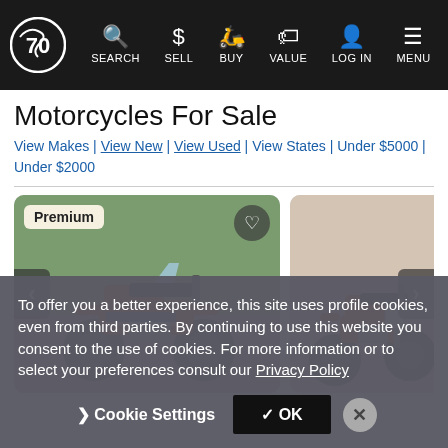[Figure (screenshot): Website navigation bar with logo and icons: SEARCH, SELL, BUY, VALUE, LOG IN, MENU on dark background]
Motorcycles For Sale
View Makes | View New | View Used | View States | Under $5000 | Under $2000
[Figure (photo): Two motorcycle listing cards side by side. Left card labeled 'Premium' shows a red Honda dual-sport motorcycle outdoors. Right card shows a red Honda dirt bike indoors. Navigation arrows on left and right sides. Heart/favorite button on top right of left card.]
To offer you a better experience, this site uses profile cookies, even from third parties. By continuing to use this website you consent to the use of cookies. For more information or to select your preferences consult our Privacy Policy